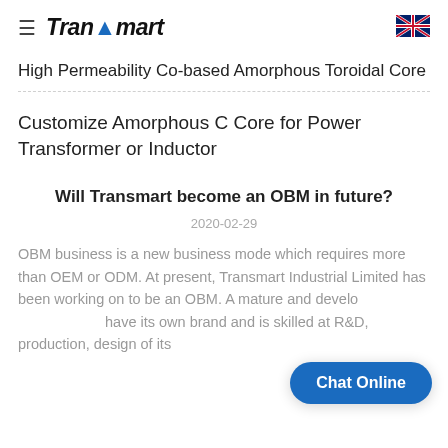Transmart
High Permeability Co-based Amorphous Toroidal Core
Customize Amorphous C Core for Power Transformer or Inductor
Will Transmart become an OBM in future?
2020-02-29
OBM business is a new business mode which requires more than OEM or ODM. At present, Transmart Industrial Limited has been working on to be an OBM. A mature and develo... have its own brand and is skilled at R&D, production, design of its